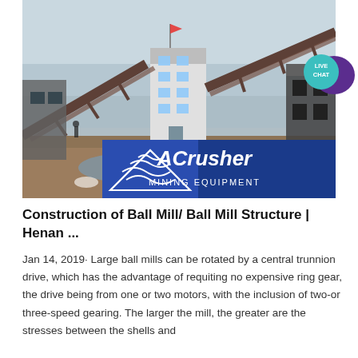[Figure (photo): Industrial mining/crushing facility with conveyor belts, a multi-story control tower building, and heavy steel structures. ACrusher Mining Equipment logo overlay at the bottom of the image showing a blue banner with a triangle logo and the text 'ACrusher MINING EQUIPMENT'.]
[Figure (logo): Live Chat button: teal circle with 'LIVE CHAT' text and a purple speech bubble icon.]
Construction of Ball Mill/ Ball Mill Structure | Henan ...
Jan 14, 2019· Large ball mills can be rotated by a central trunnion drive, which has the advantage of requiting no expensive ring gear, the drive being from one or two motors, with the inclusion of two-or three-speed gearing. The larger the mill, the greater are the stresses between the shells and